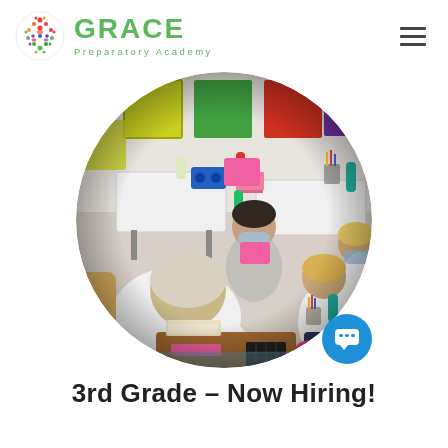GRACE Preparatory Academy
[Figure (photo): Circular cropped photo of a classroom at Grace Preparatory Academy showing students seated at desks working, wearing masks, with colorful bulletin board squares (yellow, green, red, purple) on the white wall in the background. A teacher or student in a white hoodie is in the foreground, and other students are working at tables with school supplies visible.]
3rd Grade – Now Hiring!